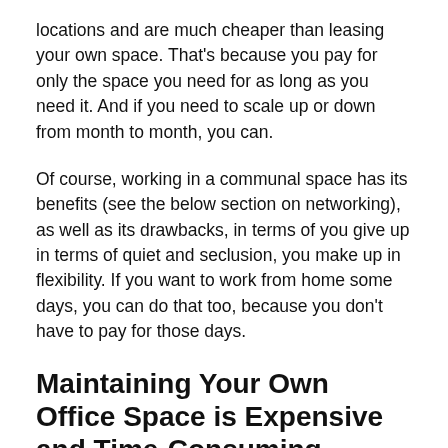locations and are much cheaper than leasing your own space. That's because you pay for only the space you need for as long as you need it. And if you need to scale up or down from month to month, you can.
Of course, working in a communal space has its benefits (see the below section on networking), as well as its drawbacks, in terms of you give up in terms of quiet and seclusion, you make up in flexibility. If you want to work from home some days, you can do that too, because you don't have to pay for those days.
Maintaining Your Own Office Space is Expensive and Time-Consuming
Opening your own office means buying or leasing office furniture and equipment. It means investing in a